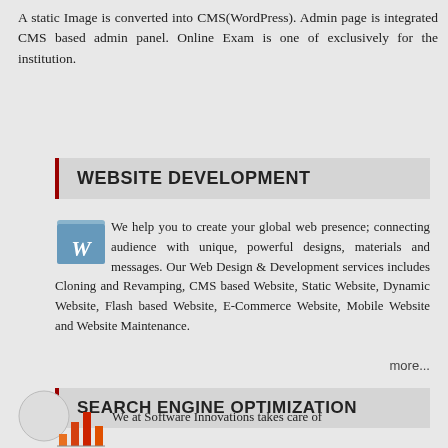A static Image is converted into CMS(WordPress). Admin page is integrated CMS based admin panel. Online Exam is one of exclusively for the institution.
WEBSITE DEVELOPMENT
We help you to create your global web presence; connecting audience with unique, powerful designs, materials and messages. Our Web Design & Development services includes Cloning and Revamping, CMS based Website, Static Website, Dynamic Website, Flash based Website, E-Commerce Website, Mobile Website and Website Maintenance.
more...
SEARCH ENGINE OPTIMIZATION
We at Software Innovations takes care of